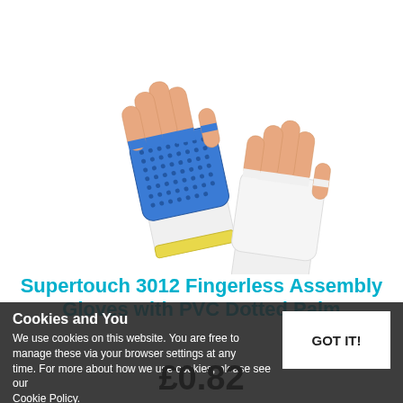[Figure (photo): Two fingerless assembly gloves with PVC dotted palm. Left glove is blue with dotted grip pattern, right glove is plain white. Both have yellow cuffs and exposed fingertips. Shown against white background.]
Supertouch 3012 Fingerless Assembly Gloves with PVC Dotted Palm
Cookies and You
We use cookies on this website. You are free to manage these via your browser settings at any time. For more about how we use cookies, please see our Cookie Policy.
£0.82